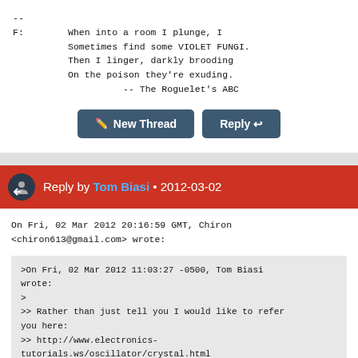--
F:        When into a room I plunge, I
          Sometimes find some VIOLET FUNGI.
          Then I linger, darkly brooding
          On the poison they're exuding.
                    -- The Roguelet's ABC
New Thread   Reply
Reply by Tom Biasi • 2012-03-02
On Fri, 02 Mar 2012 20:16:59 GMT, Chiron <chiron613@gmail.com> wrote:
>On Fri, 02 Mar 2012 11:03:27 -0500, Tom Biasi wrote:
>
>> Rather than just tell you I would like to refer you here:
>> http://www.electronics-tutorials.ws/oscillator/crystal.html